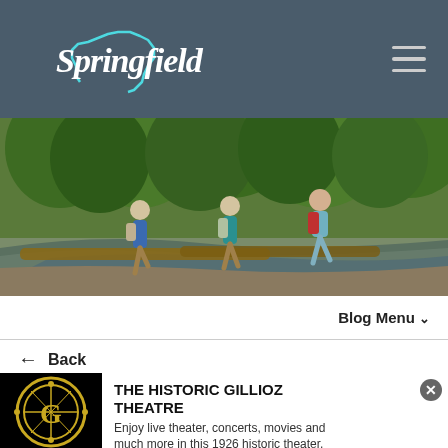Springfield (logo)
[Figure (photo): Three hikers with backpacks crossing a log bridge over water in a lush green forest setting]
Blog Menu ∨
← Back
LIVING THE OZARKS OUTDOORS
[Figure (logo): The Historic Gillioz Theatre circular gold logo with stylized G on black background]
THE HISTORIC GILLIOZ THEATRE
Enjoy live theater, concerts, movies and much more in this 1926 historic theater.